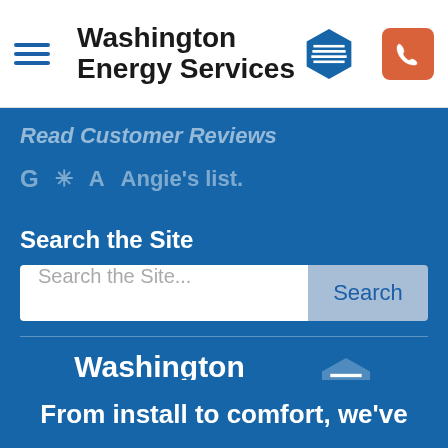Washington Energy Services
Read Customer Reviews
G  ✳  A  Angie's list.
Search the Site
Search the Site...   Search
[Figure (logo): Washington Energy Services logo with hexagonal grid icon, white text on blue background]
From install to comfort, we've